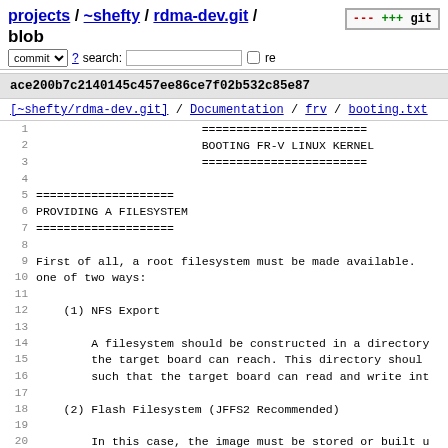projects / ~shefty / rdma-dev.git / blob
commit ? search: re
ace200b7c2140145c457ee86ce7f02b532c85e87
[~shefty/rdma-dev.git] / Documentation / frv / booting.txt
1  ========================
2  BOOTING FR-V LINUX KERNEL
3  ========================
4
5  ====================
6  PROVIDING A FILESYSTEM
7  ====================
8
9  First of all, a root filesystem must be made available.
10 one of two ways:
11
12     (1) NFS Export
13
14         A filesystem should be constructed in a directory
15         the target board can reach. This directory shoul
16         such that the target board can read and write int
17
18     (2) Flash Filesystem (JFFS2 Recommended)
19
20         In this case, the image must be stored or built u
21